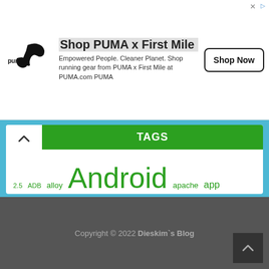[Figure (other): PUMA x First Mile advertisement banner with PUMA logo, tagline 'Empowered People. Cleaner Planet. Shop running gear from PUMA x First Mile at PUMA.com PUMA', and a 'Shop Now' button]
TAGS
2.5 ADB alloy Android apache app appcelerator apps backup centOS china chinese cloudflare cron email error Firewall fix font gcm global google how to install ios joomla JPUSH linux mac module MySQL php play push Root secure server setup ssh Titanium update usb virtualmin xiaomi yum
Copyright © 2022 Dieskim`s Blog